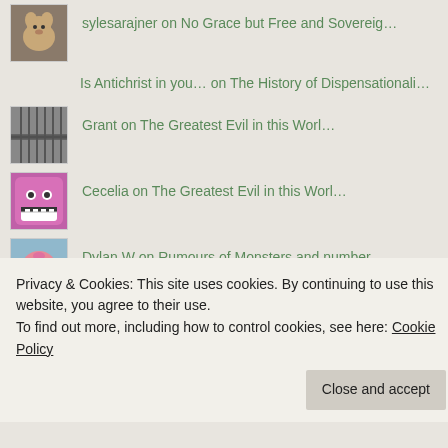sylesarajner on No Grace but Free and Sovereig…
Is Antichrist in you… on The History of Dispensationali…
Grant on The Greatest Evil in this Worl…
Cecelia on The Greatest Evil in this Worl…
Dylan W on Rumours of Monsters and number…
Privacy & Cookies: This site uses cookies. By continuing to use this website, you agree to their use.
To find out more, including how to control cookies, see here: Cookie Policy
Close and accept